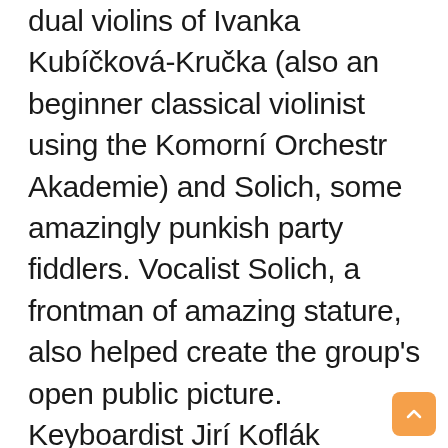dual violins of Ivanka Kubíčková-Kručka (also an beginner classical violinist using the Komorní Orchestr Akademie) and Solich, some amazingly punkish party fiddlers. Vocalist Solich, a frontman of amazing stature, also helped create the group's open public picture. Keyboardist Jirí Koflák finished this quartet edition from the music group featured over the 1997 cassette discharge Mechozil Zhoubny. Immediately after, the group empty its drum machine and recruited drummer Jirí Burian and several bassists emerged and proceeded to go. Pod Cerny Vrch documented and released Mechozilovy Písne Lásky in 1998 with Kakaxa supposing bass guitar responsibilities. A profound, however very entertaining idea album expanded the function of the type Mechozil Zhoubny; made by Kubícek, it had been very well-received with the Western european press. On that power, the group performed in Czech music celebrations and toured Slovakia and